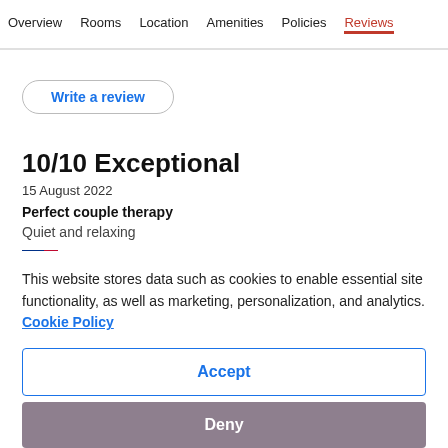Overview  Rooms  Location  Amenities  Policies  Reviews
Write a review
10/10 Exceptional
15 August 2022
Perfect couple therapy
Quiet and relaxing
This website stores data such as cookies to enable essential site functionality, as well as marketing, personalization, and analytics. Cookie Policy
Accept
Deny